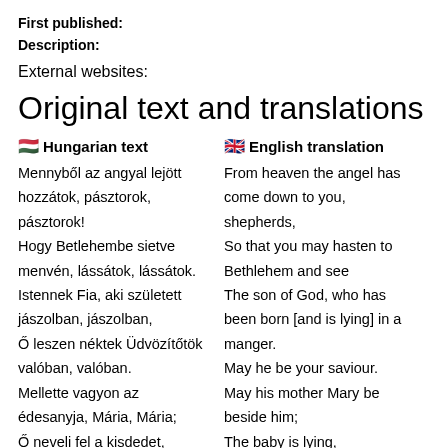First published:
Description:
External websites:
Original text and translations
🇭🇺 Hungarian text | 🇬🇧 English translation
Mennyből az angyal lejött hozzátok, pásztorok, pásztorok!
From heaven the angel has come down to you, shepherds,
Hogy Betlehembe sietve menvén, lássátok, lássátok.
So that you may hasten to Bethlehem and see
Istennek Fia, aki született jászolban, jászolban,
The son of God, who has been born [and is lying] in a manger.
Ő leszen néktek Üdvözítőtök valóban, valóban.
May he be your saviour.
Mellette vagyon az édesanyja, Mária, Mária;
May his mother Mary be beside him;